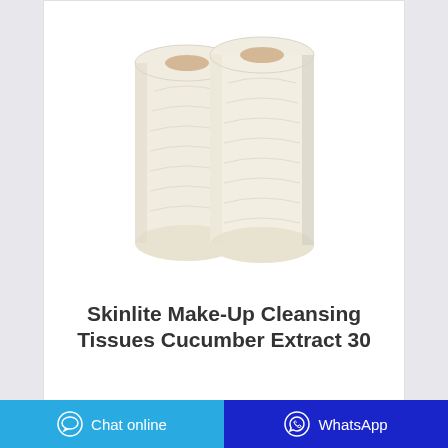[Figure (photo): Two rolls of white tissue paper (Skinlite Make-Up Cleansing Tissues with Cucumber Extract) standing side by side on a white background]
Skinlite Make-Up Cleansing Tissues Cucumber Extract 30
Chat online
WhatsApp